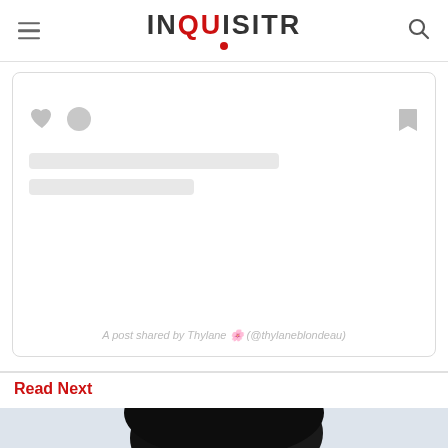INQUISITR
[Figure (screenshot): Instagram embed card showing placeholder skeleton lines and action icons (heart, comment, bookmark). Caption reads: A post shared by Thylane 🌸 (@thylaneblondeau)]
A post shared by Thylane 🌸 (@thylaneblondeau)
Read Next
[Figure (photo): Partial photo of a person with dark hair against a light blue/white background, cropped to show top of head]